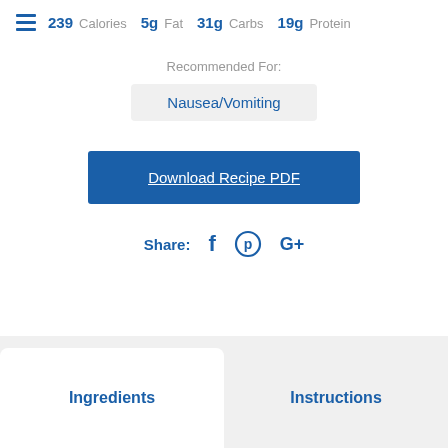239 Calories  5g Fat  31g Carbs  19g Protein
Recommended For:
Nausea/Vomiting
Download Recipe PDF
Share:
Ingredients
Instructions